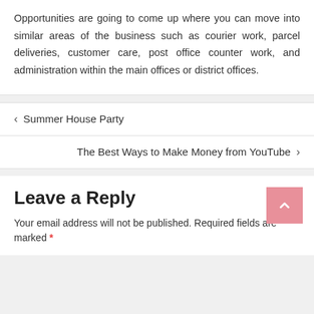Opportunities are going to come up where you can move into similar areas of the business such as courier work, parcel deliveries, customer care, post office counter work, and administration within the main offices or district offices.
< Summer House Party
The Best Ways to Make Money from YouTube >
Leave a Reply
Your email address will not be published. Required fields are marked *